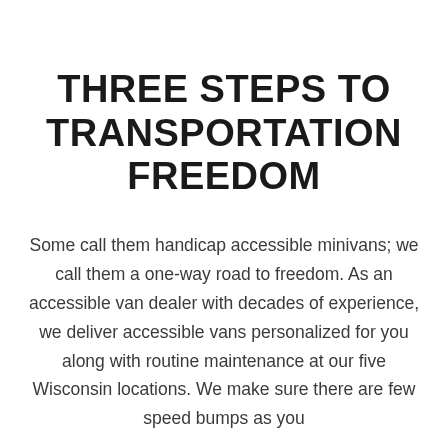THREE STEPS TO TRANSPORTATION FREEDOM
Some call them handicap accessible minivans; we call them a one-way road to freedom. As an accessible van dealer with decades of experience, we deliver accessible vans personalized for you along with routine maintenance at our five Wisconsin locations. We make sure there are few speed bumps as you